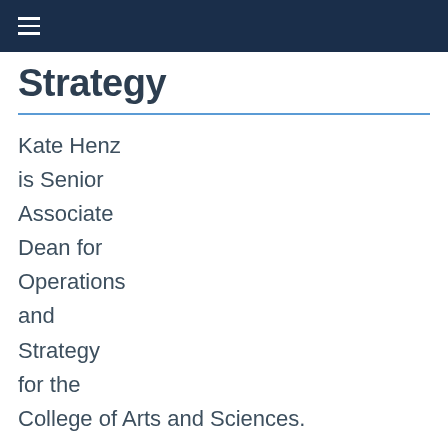≡
Strategy
Kate Henz is Senior Associate Dean for Operations and Strategy for the College of Arts and Sciences.